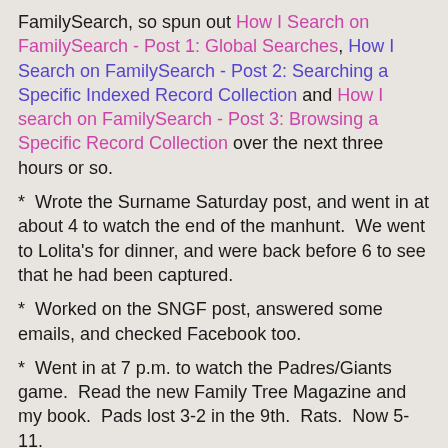FamilySearch, so spun out How I Search on FamilySearch - Post 1: Global Searches, How I Search on FamilySearch - Post 2: Searching a Specific Indexed Record Collection and How I search on FamilySearch - Post 3: Browsing a Specific Record Collection over the next three hours or so.
*  Wrote the Surname Saturday post, and went in at about 4 to watch the end of the manhunt.  We went to Lolita's for dinner, and were back before 6 to see that he had been captured.
*  Worked on the SNGF post, answered some emails, and checked Facebook too.
*  Went in at 7 p.m. to watch the Padres/Giants game.  Read the new Family Tree Magazine and my book.  Pads lost 3-2 in the 9th.  Rats.  Now 5-11.
*  Online at 10:20 p.m. to read, add to the Best Of post and write this post.  8 blog posts today!